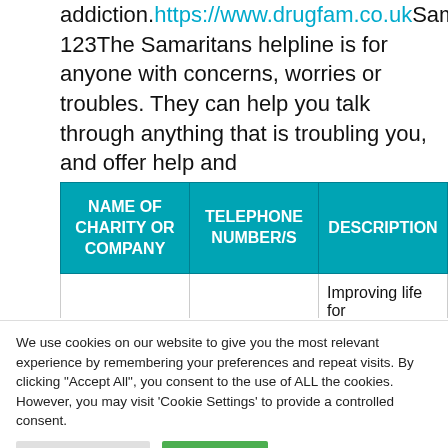addiction.https://www.drugfam.co.ukSamaritans116 123The Samaritans helpline is for anyone with concerns, worries or troubles. They can help you talk through anything that is troubling you, and offer help and support.https://www.samaritans.org/
| NAME OF CHARITY OR COMPANY | TELEPHONE NUMBER/S | DESCRIPTION |
| --- | --- | --- |
|  |  | Improving life for |
We use cookies on our website to give you the most relevant experience by remembering your preferences and repeat visits. By clicking "Accept All", you consent to the use of ALL the cookies. However, you may visit 'Cookie Settings' to provide a controlled consent.